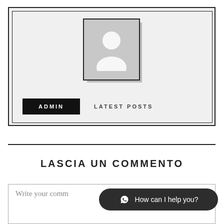[Figure (illustration): Admin profile card with placeholder avatar icon (user silhouette), ADMIN button (black), and LATEST POSTS label]
LASCIA UN COMMENTO
Write your comment here...
[Figure (other): WhatsApp chat button overlay with text 'How can I help you?']